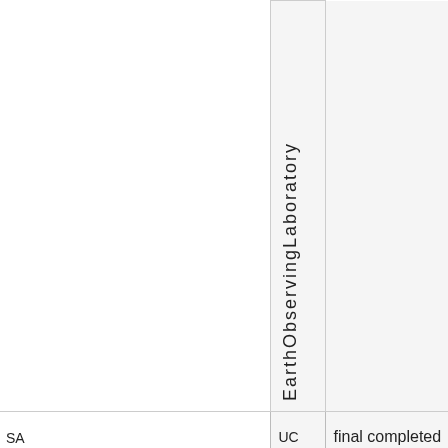|  | EarthObservingLaboratory |  |
| SA | UC | final completed |